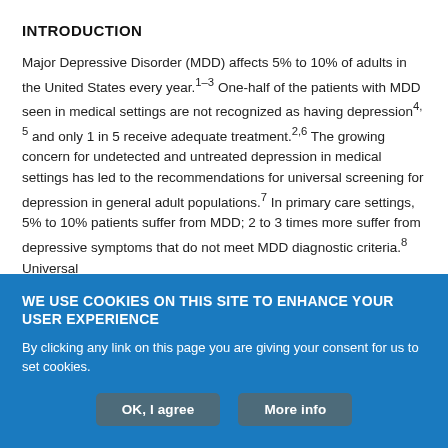INTRODUCTION
Major Depressive Disorder (MDD) affects 5% to 10% of adults in the United States every year.1–3 One-half of the patients with MDD seen in medical settings are not recognized as having depression4, 5 and only 1 in 5 receive adequate treatment.2,6 The growing concern for undetected and untreated depression in medical settings has led to the recommendations for universal screening for depression in general adult populations.7 In primary care settings, 5% to 10% patients suffer from MDD; 2 to 3 times more suffer from depressive symptoms that do not meet MDD diagnostic criteria.8 Universal
WE USE COOKIES ON THIS SITE TO ENHANCE YOUR USER EXPERIENCE
By clicking any link on this page you are giving your consent for us to set cookies.
OK, I agree
More info